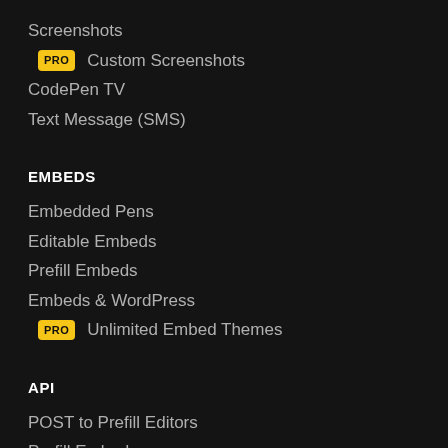Screenshots
PRO Custom Screenshots
CodePen TV
Text Message (SMS)
EMBEDS
Embedded Pens
Editable Embeds
Prefill Embeds
Embeds & WordPress
PRO Unlimited Embed Themes
API
POST to Prefill Editors
Prefill Embeds
oEmbed